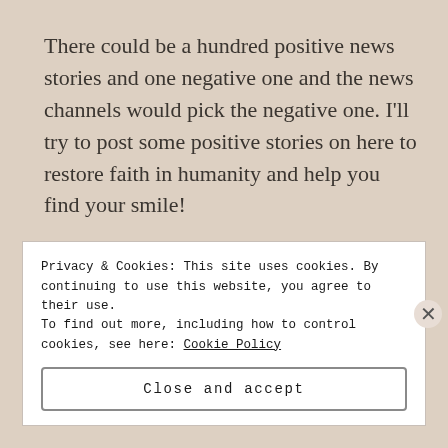There could be a hundred positive news stories and one negative one and the news channels would pick the negative one. I'll try to post some positive stories on here to restore faith in humanity and help you find your smile!
Posted in RADIATElife, Random
Tagged positive news
Privacy & Cookies: This site uses cookies. By continuing to use this website, you agree to their use.
To find out more, including how to control cookies, see here: Cookie Policy
Close and accept